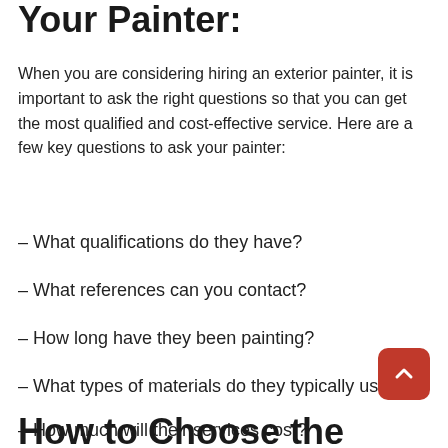Your Painter:
When you are considering hiring an exterior painter, it is important to ask the right questions so that you can get the most qualified and cost-effective service. Here are a few key questions to ask your painter:
– What qualifications do they have?
– What references can you contact?
– How long have they been painting?
– What types of materials do they typically use?
– How much will their services cost?
How to Choose the Right Painter